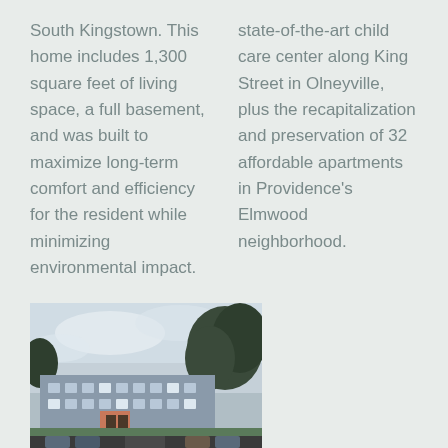South Kingstown. This home includes 1,300 square feet of living space, a full basement, and was built to maximize long-term comfort and efficiency for the resident while minimizing environmental impact.
state-of-the-art child care center along King Street in Olneyville, plus the recapitalization and preservation of 32 affordable apartments in Providence's Elmwood neighborhood.
[Figure (photo): Exterior evening/dusk photo of a multi-story apartment complex with parking lot in foreground and trees in background]
MAPLEWOODS